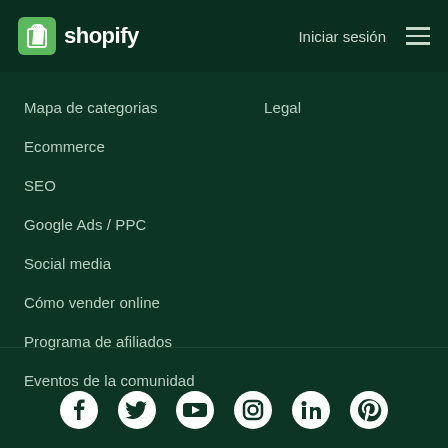shopify — Iniciar sesión
Mapa de categorias
Legal
Ecommerce
SEO
Google Ads / PPC
Social media
Cómo vender online
Programa de afiliados
Eventos de la comunidad
[Figure (other): Social media icons row: Facebook, Twitter, YouTube, Instagram, LinkedIn, Pinterest]